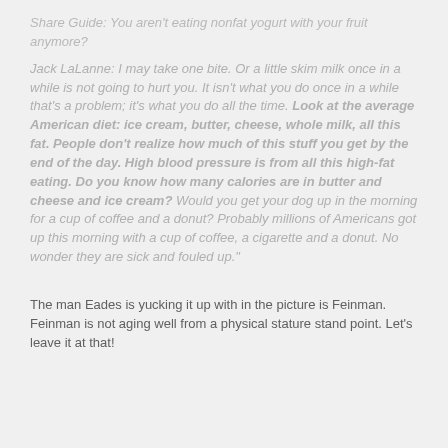Share Guide: You aren't eating nonfat yogurt with your fruit anymore?
Jack LaLanne: I may take one bite. Or a little skim milk once in a while is not going to hurt you. It isn't what you do once in a while that's a problem; it's what you do all the time. Look at the average American diet: ice cream, butter, cheese, whole milk, all this fat. People don't realize how much of this stuff you get by the end of the day. High blood pressure is from all this high-fat eating. Do you know how many calories are in butter and cheese and ice cream? Would you get your dog up in the morning for a cup of coffee and a donut? Probably millions of Americans got up this morning with a cup of coffee, a cigarette and a donut. No wonder they are sick and fouled up."
The man Eades is yucking it up with in the picture is Feinman. Feinman is not aging well from a physical stature stand point. Let's leave it at that!